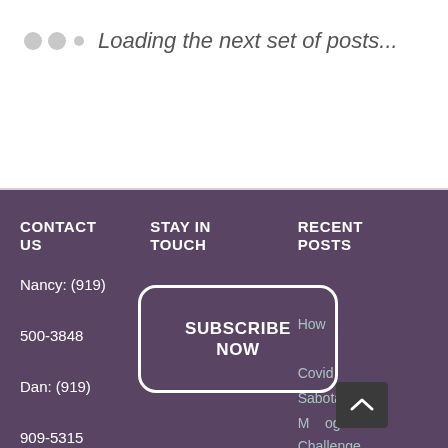Loading the next set of posts...
CONTACT US
STAY IN TOUCH
RECENT POSTS
Nancy: (919)
500-3848
Dan: (919)
909-5315
[Figure (other): SUBSCRIBE NOW button with rounded rectangle border]
How
Covid
Sabotaged
My
og
Challenge